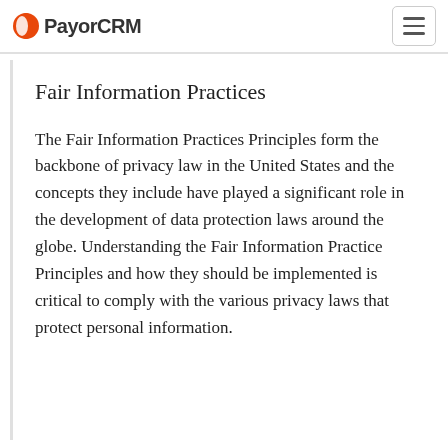PayorCRM
Fair Information Practices
The Fair Information Practices Principles form the backbone of privacy law in the United States and the concepts they include have played a significant role in the development of data protection laws around the globe. Understanding the Fair Information Practice Principles and how they should be implemented is critical to comply with the various privacy laws that protect personal information.